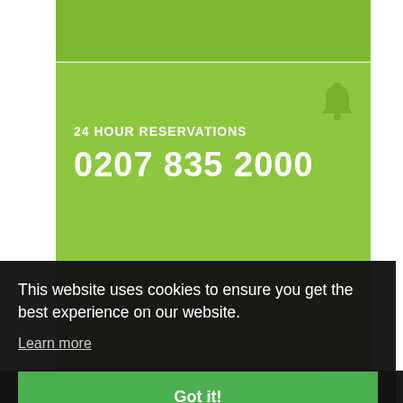24 HOUR RESERVATIONS
0207 835 2000
EMAIL
SALES@STAGESUITES.COM
This website uses cookies to ensure you get the best experience on our website.
Learn more
Got it!
Hotel Reviews   Privacy Policy   Contact Us   Sitemap   Careers